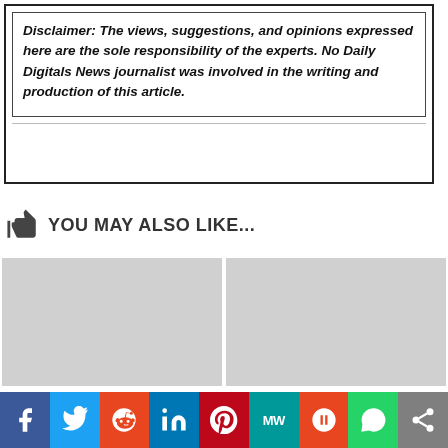Disclaimer: The views, suggestions, and opinions expressed here are the sole responsibility of the experts. No Daily Digitals News journalist was involved in the writing and production of this article.
YOU MAY ALSO LIKE...
[Figure (illustration): Two gray image placeholders side by side in a 'You May Also Like' section]
[Figure (infographic): Social sharing bar with icons for Facebook, Twitter, Reddit, LinkedIn, Pinterest, MW, Mix, WhatsApp, and Share]